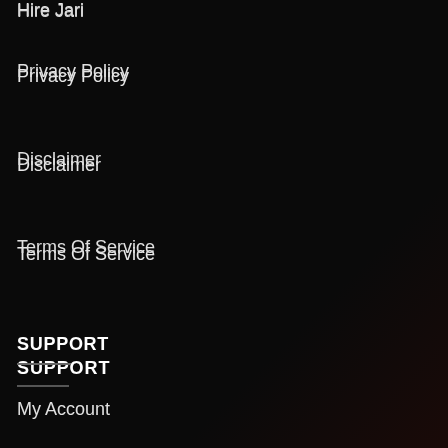Hire Jari
Privacy Policy
Disclaimer
Terms Of Service
SUPPORT
My Account
Shipping Policy
Refund Policy
Contact Us
Lost password?